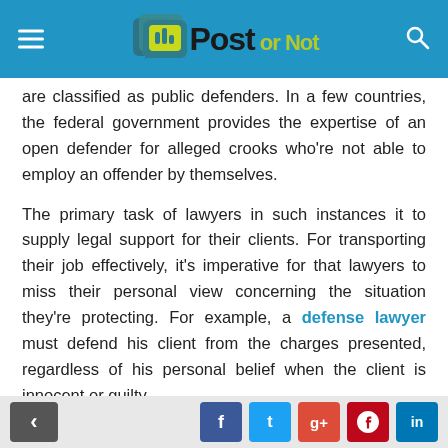Post or Not
are classified as public defenders. In a few countries, the federal government provides the expertise of an open defender for alleged crooks who're not able to employ an offender by themselves.

The primary task of lawyers in such instances it to supply legal support for their clients. For transporting their job effectively, it's imperative for that lawyers to miss their personal view concerning the situation they're protecting. For example, a defense lawyer must defend his client from the charges presented, regardless of his personal belief when the client is innocent or guilty.

Lawyers practicing criminal law are needed to look
social share buttons